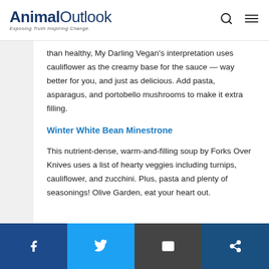Animal Outlook — Exposing Truth Inspiring Change
than healthy, My Darling Vegan's interpretation uses cauliflower as the creamy base for the sauce — way better for you, and just as delicious. Add pasta, asparagus, and portobello mushrooms to make it extra filling.
Winter White Bean Minestrone
This nutrient-dense, warm-and-filling soup by Forks Over Knives uses a list of hearty veggies including turnips, cauliflower, and zucchini. Plus, pasta and plenty of seasonings! Olive Garden, eat your heart out.